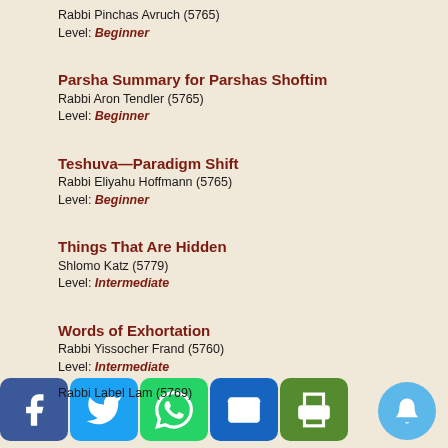Rabbi Pinchas Avruch (5765)
Level: Beginner
Parsha Summary for Parshas Shoftim
Rabbi Aron Tendler (5765)
Level: Beginner
Teshuva—Paradigm Shift
Rabbi Eliyahu Hoffmann (5765)
Level: Beginner
Things That Are Hidden
Shlomo Katz (5779)
Level: Intermediate
Words of Exhortation
Rabbi Yissocher Frand (5760)
Level: Intermediate
Psalm 27 - Hashem Ori v'Yish'i
Rabbi Yitzchak Etshalom
Level: Advanced
Rabbi Label Lam (5769)